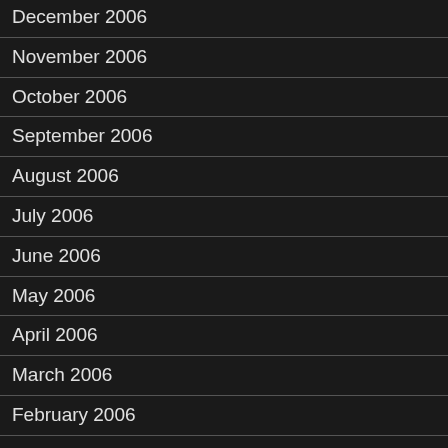December 2006
November 2006
October 2006
September 2006
August 2006
July 2006
June 2006
May 2006
April 2006
March 2006
February 2006
January 2006
December 2005